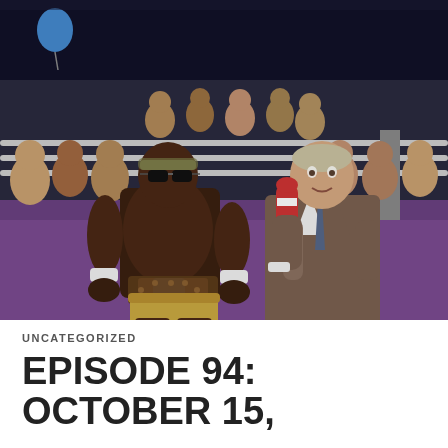[Figure (photo): A vintage professional wrestling photo showing a muscular Black wrestler wearing sunglasses, a headband, white wrist bands, a large decorative championship belt, and gold trunks, posing with hands on hips next to a heavyset white man in a brown suit holding a red and white microphone, inside a wrestling arena with audience visible in background.]
UNCATEGORIZED
EPISODE 94: OCTOBER 15,